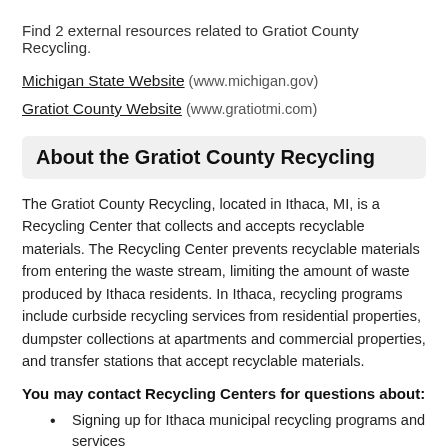Find 2 external resources related to Gratiot County Recycling.
Michigan State Website (www.michigan.gov)
Gratiot County Website (www.gratiotmi.com)
About the Gratiot County Recycling
The Gratiot County Recycling, located in Ithaca, MI, is a Recycling Center that collects and accepts recyclable materials. The Recycling Center prevents recyclable materials from entering the waste stream, limiting the amount of waste produced by Ithaca residents. In Ithaca, recycling programs include curbside recycling services from residential properties, dumpster collections at apartments and commercial properties, and transfer stations that accept recyclable materials.
You may contact Recycling Centers for questions about:
Signing up for Ithaca municipal recycling programs and services
Residential and commercial recycling services